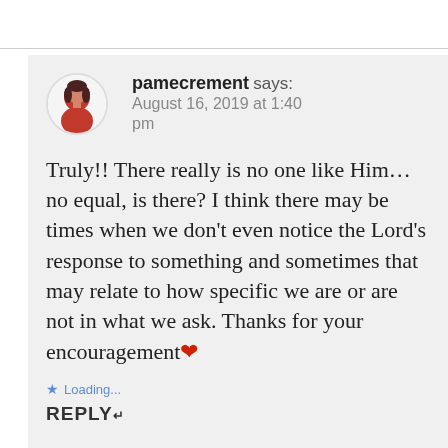pamecrement says: August 16, 2019 at 1:40 pm
Truly!! There really is no one like Him…no equal, is there? I think there may be times when we don't even notice the Lord's response to something and sometimes that may relate to how specific we are or are not in what we ask. Thanks for your encouragement❤
Loading...
REPLY